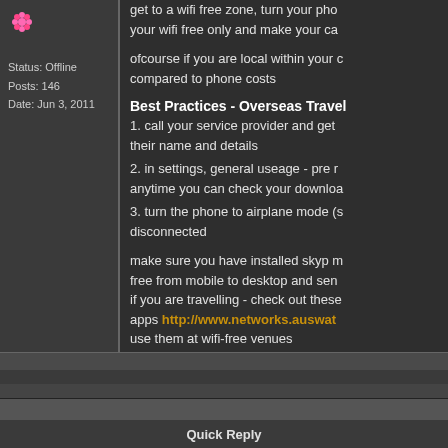[Figure (illustration): Small pink/red avatar icon in top left of user panel]
Status: Offline
Posts: 146
Date: Jun 3, 2011
get to a wifi free zone, turn your pho your wifi free only and make your ca
ofcourse if you are local within your compared to phone costs
Best Practices - Overseas Travel
1. call your service provider and get their name and details
2. in settings, general useage - pre r anytime you can check your downloa
3. turn the phone to airplane mode (s disconnected
make sure you have installed skyp m free from mobile to desktop and sen if you are travelling - check out these apps http://www.networks.auswat use them at wifi-free venues
anyone got suggestions please add
Quick Reply